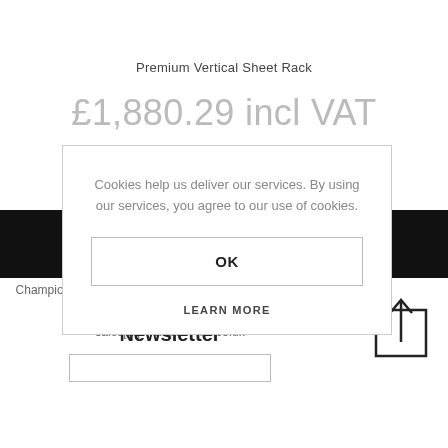Premium Vertical Sheet Rack
£1,880.29 incl VAT
Cookies help us deliver our services. By using our services, you agree to our use of cookies.
OK
LEARN MORE
Champion MH, 70 Seabourne Rd, Bournemouth BH5 2HT
0800 021 4516
sales[at]champion-mh.co.uk
Newsletter